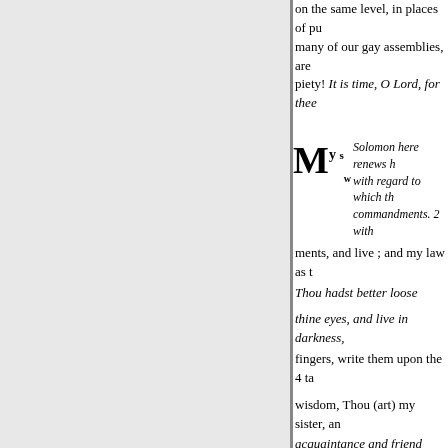on the same level, in places of pu many of our gay assemblies, are piety! It is time, O Lord, for thee
Solomon here renews h with regard to which th commandments. 2 with
ments, and live ; and my law as t Thou hadst better loose
thine eyes, and live in darkness, fingers, write them upon the 4 ta
wisdom, Thou (art) my sister, an acquaintance and friend
ship with them, as persons usual strange woman, from the
stranger (which] frattereth with h temptations amidst the luxury of
account of a thoughtless young m of my house I looked 7 through m
discerned among the youths, a w